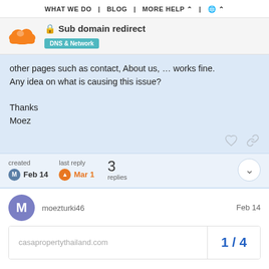WHAT WE DO | BLOG | MORE HELP | 🌐
🔒 Sub domain redirect
DNS & Network
other pages such as contact, About us, … works fine.
Any idea on what is causing this issue?

Thanks
Moez
created Feb 14 | last reply Mar 1 | 3 replies
moezturki46 Feb 14
casapropertythailand.com 1 / 4